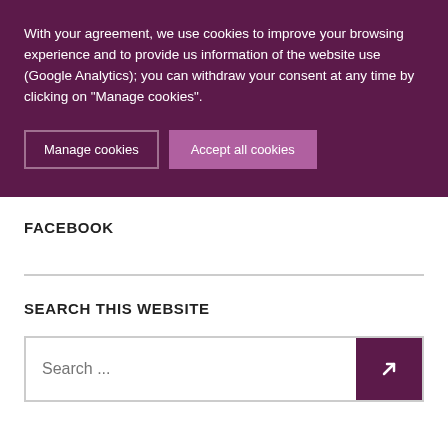With your agreement, we use cookies to improve your browsing experience and to provide us information of the website use (Google Analytics); you can withdraw your consent at any time by clicking on "Manage cookies".
Manage cookies
Accept all cookies
FACEBOOK
SEARCH THIS WEBSITE
Search ...